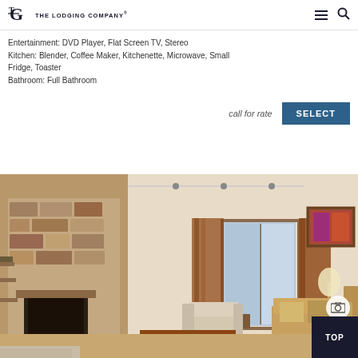The Lodging Company
Entertainment: DVD Player, Flat Screen TV, Stereo
Kitchen: Blender, Coffee Maker, Kitchenette, Microwave, Small Fridge, Toaster
Bathroom: Full Bathroom
call for rate
SELECT
[Figure (photo): Interior photo of a lodge/condo living room with stone fireplace, flat screen TV mounted above fireplace, sliding glass door with curtains, sofa with pillows, armchair, coffee table, and decorative painting on wall.]
TOP